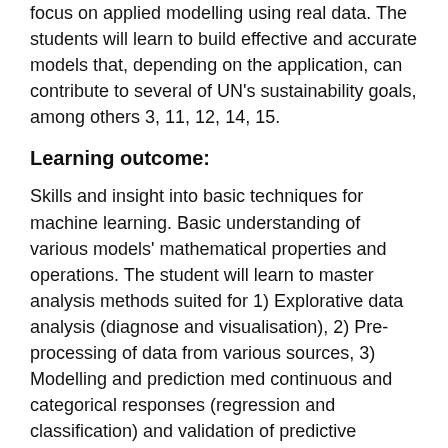focus on applied modelling using real data. The students will learn to build effective and accurate models that, depending on the application, can contribute to several of UN's sustainability goals, among others 3, 11, 12, 14, 15.
Learning outcome:
Skills and insight into basic techniques for machine learning. Basic understanding of various models' mathematical properties and operations. The student will learn to master analysis methods suited for 1) Explorative data analysis (diagnose and visualisation), 2) Pre-processing of data from various sources, 3) Modelling and prediction med continuous and categorical responses (regression and classification) and validation of predictive models.
The student will learn to connect problems with choice of appropriate analysis methods.